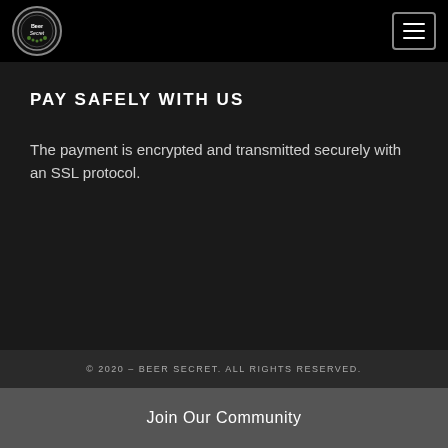[Figure (logo): Beer Secret circular logo with text and hops imagery, white border on black background]
[Figure (other): Hamburger menu button icon, three horizontal lines in a rounded square border]
PAY SAFELY WITH US
The payment is encrypted and transmitted securely with an SSL protocol.
© 2020 – BEER SECRET. ALL RIGHTS RESERVED.
Join Our Community